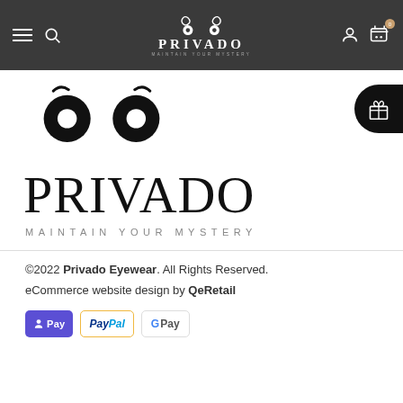Privado Eyewear navigation bar with hamburger menu, search, logo, user icon, cart
[Figure (logo): Privado Eyewear owl logo - large display on white background with brand name PRIVADO and tagline MAINTAIN YOUR MYSTERY]
©2022 Privado Eyewear. All Rights Reserved.
eCommerce website design by QeRetail
[Figure (infographic): Payment method icons: Apple Pay (purple), PayPal (yellow border), Google Pay (white)]